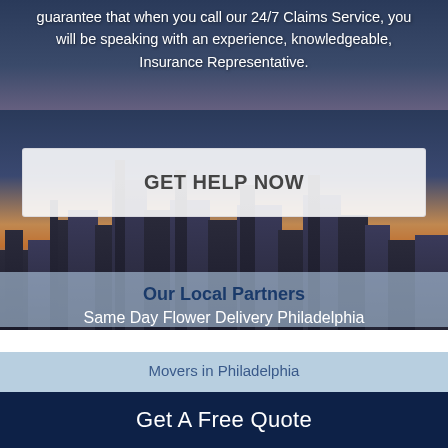guarantee that when you call our 24/7 Claims Service, you will be speaking with an experience, knowledgeable, Insurance Representative.
GET HELP NOW
Our Local Partners
Same Day Flower Delivery Philadelphia
Movers in Philadelphia
Credit Repair Philadelphia
Center For Autism Philadelphia
Drug Rehab in Philadelphia
Get A Free Quote